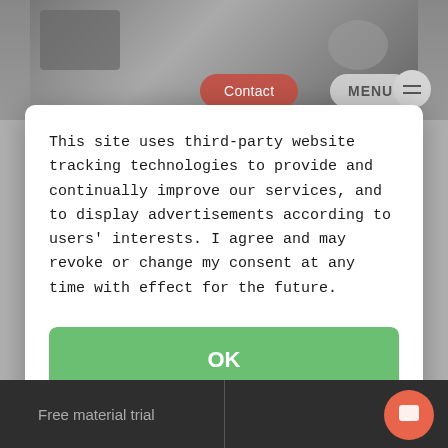[Figure (screenshot): Website header background showing machinery photo with Contact button (red/coral) and MENU button (gray) at top]
This site uses third-party website tracking technologies to provide and continually improve our services, and to display advertisements according to users' interests. I agree and may revoke or change my consent at any time with effect for the future.
OK
Deny
More info
Imprint | Privacy Policy
Free material trial